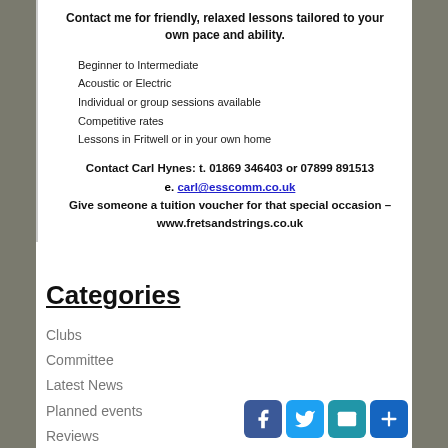Contact me for friendly, relaxed lessons tailored to your own pace and ability.
Beginner to Intermediate
Acoustic or Electric
Individual or group sessions available
Competitive rates
Lessons in Fritwell or in your own home
Contact Carl Hynes: t. 01869 346403 or 07899 891513
e. carl@esscomm.co.uk
Give someone a tuition voucher for that special occasion – www.fretsandstrings.co.uk
Categories
Clubs
Committee
Latest News
Planned events
Reviews